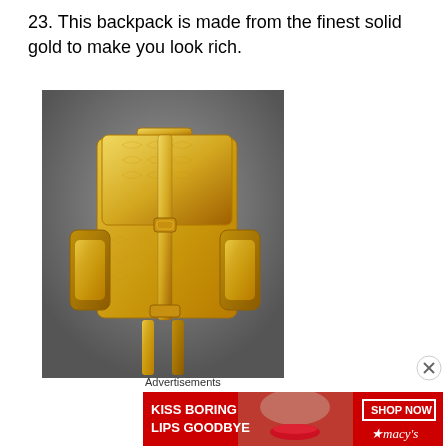23. This backpack is made from the finest solid gold to make you look rich.
[Figure (photo): A gold metallic backpack with embossed pattern, buckles, side pockets, and dangling straps, photographed against a gray background.]
Advertisements
[Figure (infographic): Advertisement banner for Macy's: red background with text 'KISS BORING LIPS GOODBYE', a woman's face with red lipstick in center, and 'SHOP NOW' button with Macy's star logo on the right.]